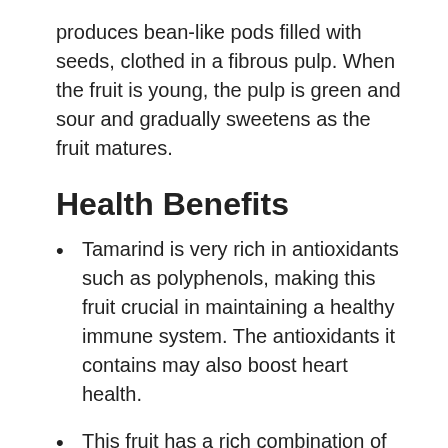produces bean-like pods filled with seeds, clothed in a fibrous pulp. When the fruit is young, the pulp is green and sour and gradually sweetens as the fruit matures.
Health Benefits
Tamarind is very rich in antioxidants such as polyphenols, making this fruit crucial in maintaining a healthy immune system. The antioxidants it contains may also boost heart health.
This fruit has a rich combination of minerals and vitamins that's enough to keep any immune system sturdy and healthy. We're